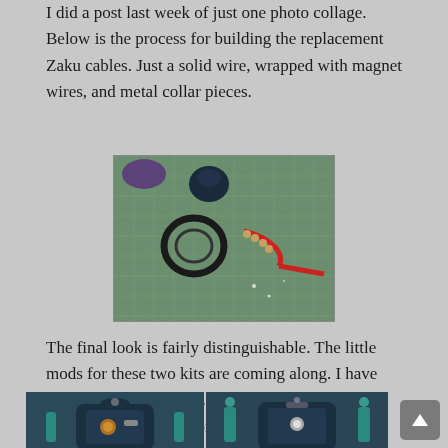I did a post last week of just one photo collage. Below is the process for building the replacement Zaku cables. Just a solid wire, wrapped with magnet wires, and metal collar pieces.
[Figure (photo): Photo of Zaku cable building materials on a green cutting mat: a circular ring piece, small metal collar beads on a curved wire, and a red wire piece]
The final look is fairly distinguishable. The little mods for these two kits are coming along. I have some more little details to add; but I really wanted to get this written up for the Heat Hawk axe work.
[Figure (photo): Two side-by-side photos showing close-up views of a model kit (Zaku) head/torso area with teal/blue coloring and metallic details]